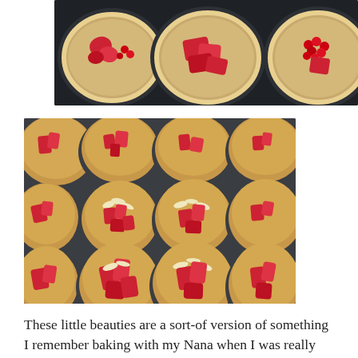[Figure (photo): Top-down view of muffin tin with raw pastry dough cups filled with fresh strawberry pieces and red currants, unbaked]
[Figure (photo): Baked fruit muffins/cakes in a dark muffin tin, showing golden baked batter with visible strawberry pieces on top, arranged in a 3x4 grid pattern]
These little beauties are a sort-of version of something I remember baking with my Nana when I was really tiny